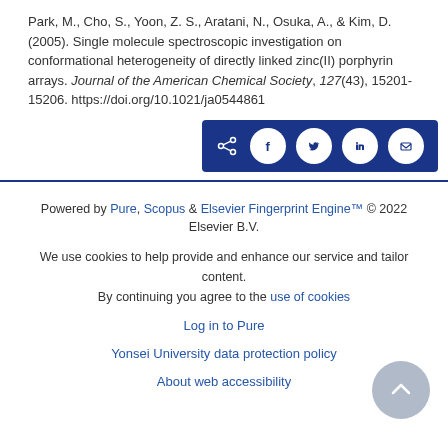Park, M., Cho, S., Yoon, Z. S., Aratani, N., Osuka, A., & Kim, D. (2005). Single molecule spectroscopic investigation on conformational heterogeneity of directly linked zinc(II) porphyrin arrays. Journal of the American Chemical Society, 127(43), 15201-15206. https://doi.org/10.1021/ja0544861
[Figure (other): Social share button bar with icons for share, Facebook, Twitter, LinkedIn, and email on a dark blue background]
Powered by Pure, Scopus & Elsevier Fingerprint Engine™ © 2022 Elsevier B.V.
We use cookies to help provide and enhance our service and tailor content. By continuing you agree to the use of cookies
Log in to Pure
Yonsei University data protection policy
About web accessibility